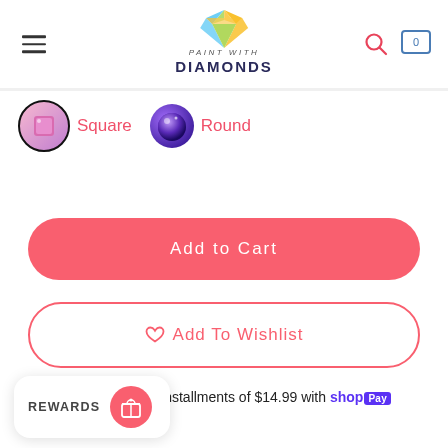[Figure (logo): Paint With Diamonds logo: colorful diamond gem above the text 'PAINT WITH DIAMONDS']
[Figure (illustration): Square diamond painting bead option with black circular border, pink/purple square gem icon]
Square
[Figure (illustration): Round diamond painting bead option, purple/blue spherical gem icon]
Round
Add to Cart
♡ Add To Wishlist
Pay in 4 interest-free installments of $14.99 with shop Pay
Learn
[Figure (infographic): Rewards widget button at bottom left with label REWARDS and a gift/reward icon]